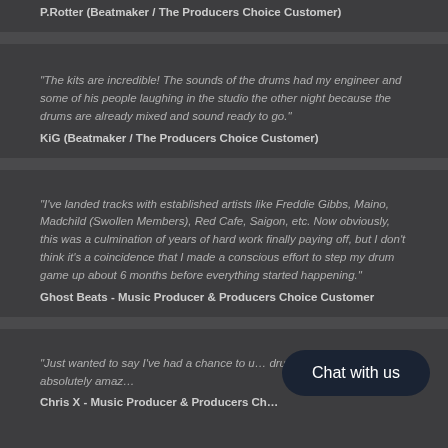P.Rotter (Beatmaker / The Producers Choice Customer)
"The kits are incredible! The sounds of the drums had my engineer and some of his people laughing in the studio the other night because the drums are already mixed and sound ready to go."
KiG (Beatmaker / The Producers Choice Customer)
"I've landed tracks with established artists like Freddie Gibbs, Maino, Madchild (Swollen Members), Red Cafe, Saigon, etc. Now obviously, this was a culmination of years of hard work finally paying off, but I don't think it's a coincidence that I made a conscious effort to step my drum game up about 6 months before everything started happening."
Ghost Beats - Music Producer & Producers Choice Customer
"Just wanted to say I've had a chance to u… drum kits. All of them are absolutelyamaz…
Chris X - Music Producer & Producers Ch…